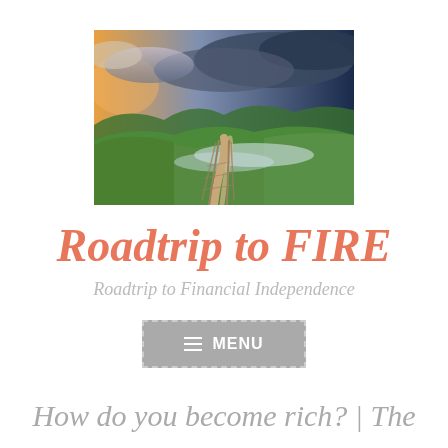[Figure (photo): Landscape photo of a winding trail path through lush green rolling hills under a dramatic stormy sky with blue clouds and sunset light on one side.]
Roadtrip to FIRE
Roadtrip to Financial Independence
≡ MENU
How do you become rich? | The